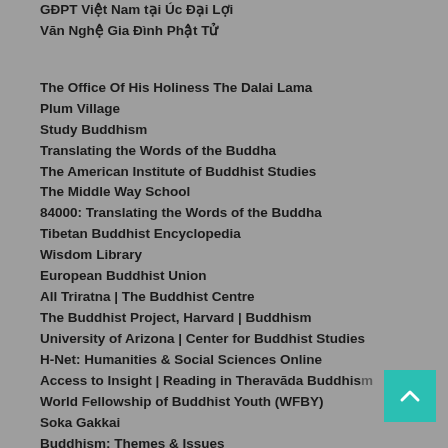GĐPT Việt Nam tại Úc Đại Lợi
Văn Nghệ Gia Đình Phật Tử
The Office Of His Holiness The Dalai Lama
Plum Village
Study Buddhism
Translating the Words of the Buddha
The American Institute of Buddhist Studies
The Middle Way School
84000: Translating the Words of the Buddha
Tibetan Buddhist Encyclopedia
Wisdom Library
European Buddhist Union
All Triratna | The Buddhist Centre
The Buddhist Project, Harvard | Buddhism
University of Arizona | Center for Buddhist Studies
H-Net: Humanities & Social Sciences Online
Access to Insight | Reading in Theravāda Buddhism
World Fellowship of Buddhist Youth (WFBY)
Soka Gakkai
Buddhism: Themes & Issues